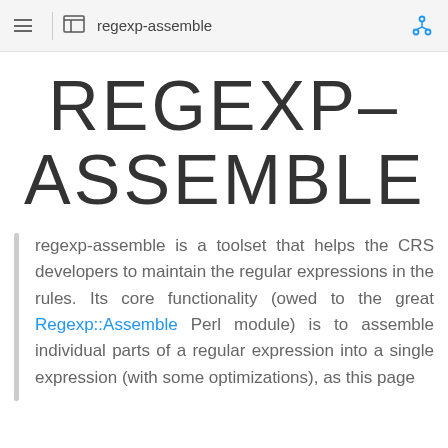regexp-assemble
REGEXP-ASSEMBLE
regexp-assemble is a toolset that helps the CRS developers to maintain the regular expressions in the rules. Its core functionality (owed to the great Regexp::Assemble Perl module) is to assemble individual parts of a regular expression into a single expression (with some optimizations), as this page